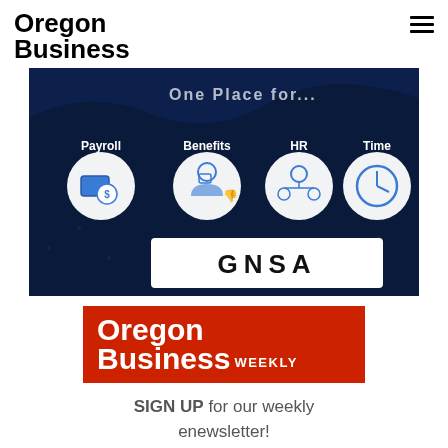Oregon Business
[Figure (infographic): GNSA advertisement banner showing a dark blue background with icons for Payroll, Benefits, HR, and Time services arranged in a row with circular icons, and the GNSA logo in a white rectangle below.]
[Figure (logo): Oregon Business Weekly logo on a red background with white text reading Oregon Business WEEKLY]
SIGN UP for our weekly enewsletter!